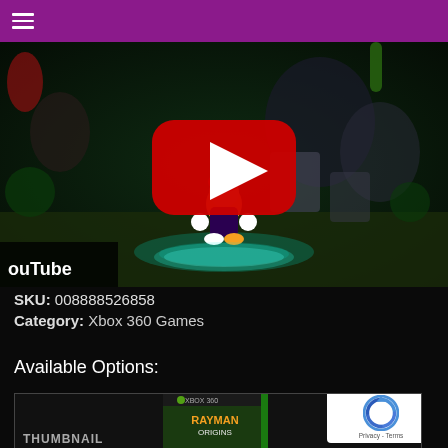☰ (hamburger menu)
[Figure (screenshot): YouTube video thumbnail showing Rayman Origins gameplay — a forest/jungle scene with the Rayman character standing on a glowing circular platform, with a large red YouTube play button overlay in the center. A 'ouTube' watermark label is visible in the bottom-left corner.]
SKU: 008888526858
Category: Xbox 360 Games
Available Options:
[Figure (screenshot): Product thumbnail strip showing a 'THUMBNAIL' label on the left and a Rayman Origins Xbox 360 game box art in the center. A reCAPTCHA widget appears on the right edge with Privacy and Terms links.]